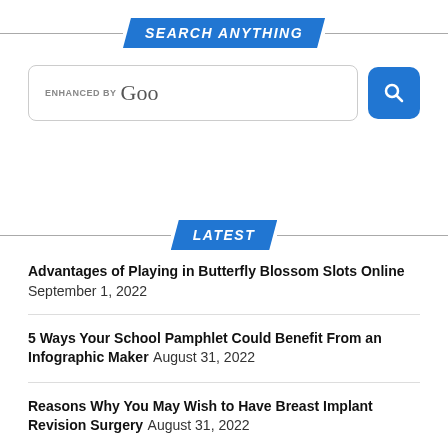SEARCH ANYTHING
[Figure (screenshot): Google custom search widget showing 'ENHANCED BY Goo' placeholder text with a blue search button icon]
LATEST
Advantages of Playing in Butterfly Blossom Slots Online September 1, 2022
5 Ways Your School Pamphlet Could Benefit From an Infographic Maker August 31, 2022
Reasons Why You May Wish to Have Breast Implant Revision Surgery August 31, 2022